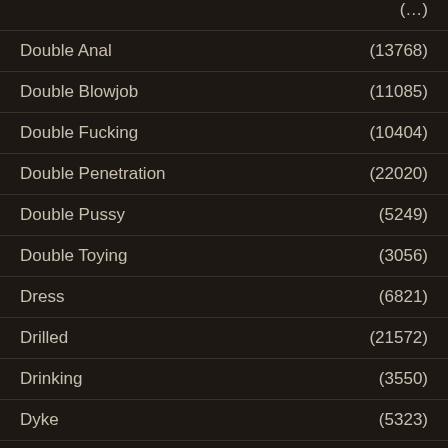Double Anal (13768)
Double Blowjob (11085)
Double Fucking (10404)
Double Penetration (22020)
Double Pussy (5249)
Double Toying (3056)
Dress (6821)
Drilled (21572)
Drinking (3550)
Dyke (5323)
E